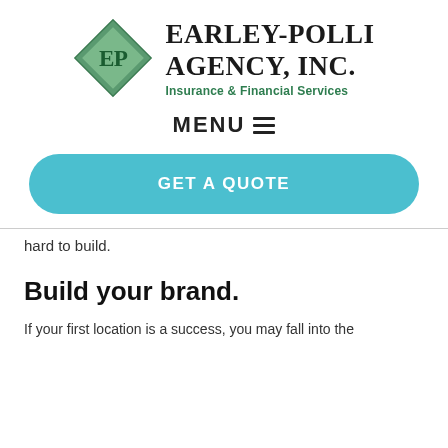[Figure (logo): Earley-Polli Agency, Inc. logo with green diamond shape containing 'EP' and company name with tagline 'Insurance & Financial Services']
MENU ☰
GET A QUOTE
hard to build.
Build your brand.
If your first location is a success, you may fall into the